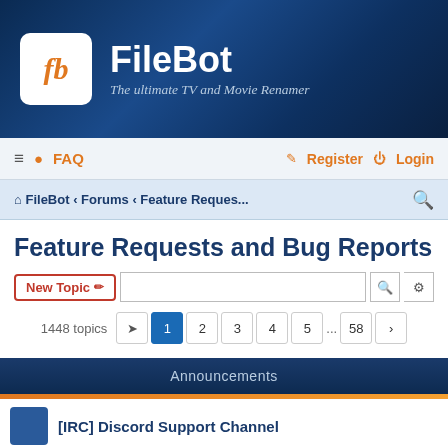[Figure (logo): FileBot logo with 'fb' in orange italic text in a white rounded box, next to 'FileBot' title and tagline 'The ultimate TV and Movie Renamer' on dark blue background]
≡ ? FAQ   Register Login
FileBot ‹ Forums ‹ Feature Reques...
Feature Requests and Bug Reports
New Topic  [search input]  1448 topics  1 2 3 4 5 ... 58 >
Announcements
[IRC] Discord Support Channel